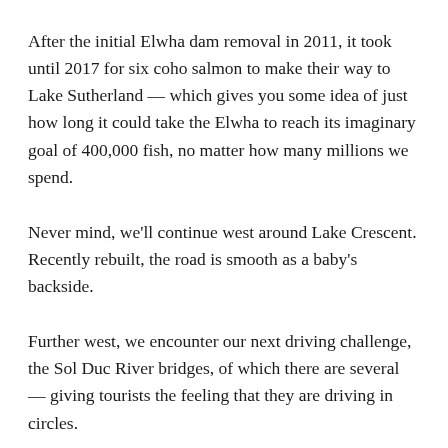After the initial Elwha dam removal in 2011, it took until 2017 for six coho salmon to make their way to Lake Sutherland — which gives you some idea of just how long it could take the Elwha to reach its imaginary goal of 400,000 fish, no matter how many millions we spend.
Never mind, we'll continue west around Lake Crescent. Recently rebuilt, the road is smooth as a baby's backside.
Further west, we encounter our next driving challenge, the Sol Duc River bridges, of which there are several — giving tourists the feeling that they are driving in circles.
No matter how many Sol Duc bridges there are, each can provide all the thrills any driver could